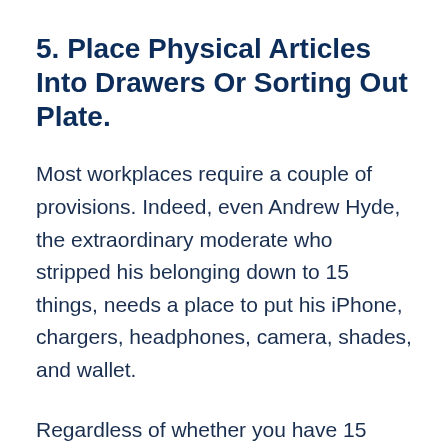5. Place Physical Articles Into Drawers Or Sorting Out Plate.
Most workplaces require a couple of provisions. Indeed, even Andrew Hyde, the extraordinary moderate who stripped his belonging down to 15 things, needs a place to put his iPhone, chargers, headphones, camera, shades, and wallet.
Regardless of whether you have 15 things or 500, you require a place to say everything – a place that is outside of